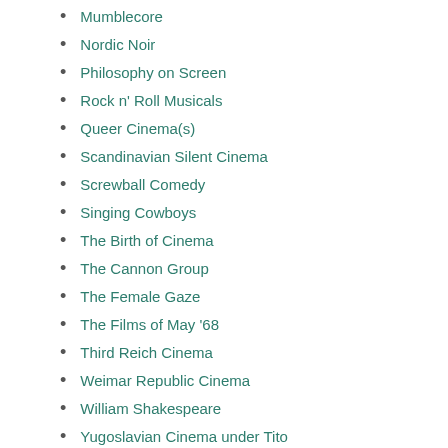Mumblecore
Nordic Noir
Philosophy on Screen
Rock n' Roll Musicals
Queer Cinema(s)
Scandinavian Silent Cinema
Screwball Comedy
Singing Cowboys
The Birth of Cinema
The Cannon Group
The Female Gaze
The Films of May '68
Third Reich Cinema
Weimar Republic Cinema
William Shakespeare
Yugoslavian Cinema under Tito
YEAR
1881-1890